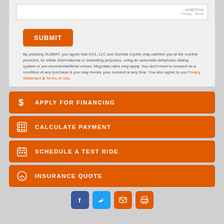[Figure (screenshot): reCAPTCHA widget box showing Privacy and Terms links]
SUBMIT
By pressing SUBMIT, you agree that DX1, LLC and Sunrise Cycles may call/text you at the number provided, for either informational or marketing purposes, using an automatic telephone dialing system or pre-recorded/artificial voices. Msg/data rates may apply. You don't need to consent as a condition of any purchase & you may revoke your consent at any time. You also agree to our Privacy Statement & Terms of Use.
$ APPLY FOR FINANCING
CALCULATE PAYMENT
SCHEDULE A TEST RIDE
INSURANCE QUOTE
[Figure (other): Social share icons: Facebook, Twitter, Email, Print]